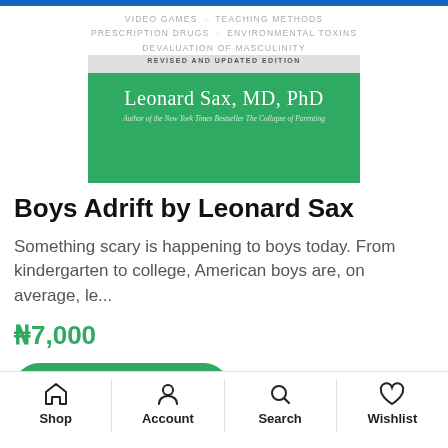[Figure (illustration): Book cover for Boys Adrift by Leonard Sax, MD, PhD. Green background with white author name text. Shows subtitle text: VIDEO GAMES · TEACHING METHODS, PRESCRIPTION DRUGS · ENVIRONMENTAL TOXINS, DEVALUATION OF MASCULINITY. Includes label REVISED AND UPDATED EDITION. Byline: Author of the New York Times Bestseller The Collapse of Parenting.]
Boys Adrift by Leonard Sax
Something scary is happening to boys today. From kindergarten to college, American boys are, on average, le...
₦7,000
Add to basket
Shop   Account   Search   Wishlist